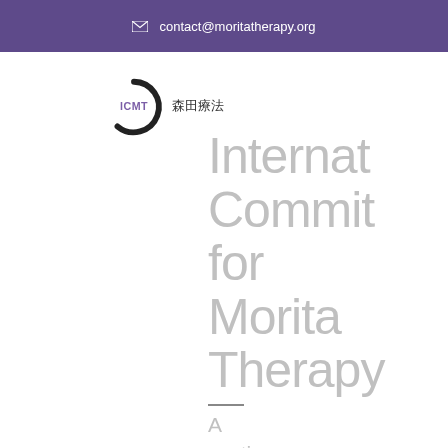contact@moritatherapy.org
[Figure (logo): ICMT logo: enso circle with ICMT text and Japanese characters 森田療法]
International Committee for Morita Therapy
A section of the Japanese Society